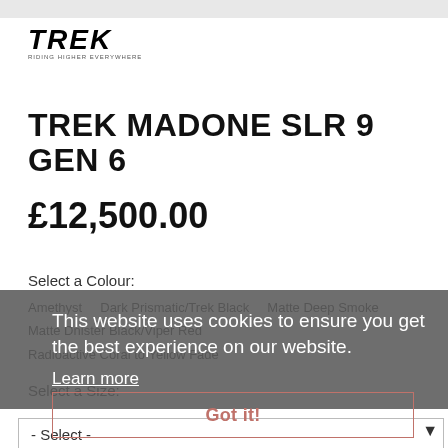[Figure (logo): Trek bicycle brand logo with bold italic TREK text and small tagline underneath]
TREK MADONE SLR 9 GEN 6
£12,500.00
Select a Colour:
Amethyst    Dark Prismatic/Trek Black    Matte Deep Smoke
Matte Dnister Black/Viper Red
Radioactive Coral to Yellow Fade
This website uses cookies to ensure you get the best experience on our website.
Learn more
Select a Size:
Got it!
- Select -